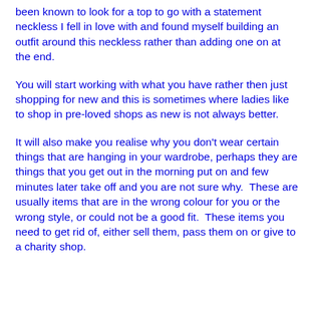been known to look for a top to go with a statement neckless I fell in love with and found myself building an outfit around this neckless rather than adding one on at the end.
You will start working with what you have rather then just shopping for new and this is sometimes where ladies like to shop in pre-loved shops as new is not always better.
It will also make you realise why you don't wear certain things that are hanging in your wardrobe, perhaps they are things that you get out in the morning put on and few minutes later take off and you are not sure why.  These are usually items that are in the wrong colour for you or the wrong style, or could not be a good fit.  These items you need to get rid of, either sell them, pass them on or give to a charity shop.